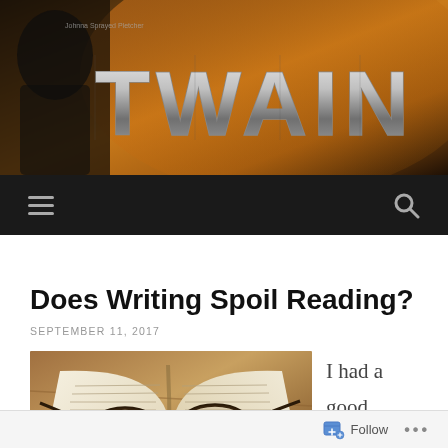[Figure (photo): Website banner header with stylized metallic text 'TWAIN' on an orange-brown fiery background, with a dark silhouette figure on the left]
[Figure (screenshot): Dark navigation bar with hamburger menu icon on the left and search (magnifying glass) icon on the right]
Does Writing Spoil Reading?
SEPTEMBER 11, 2017
[Figure (photo): An open book with eyeglasses/spectacles resting on top of the pages, photographed from above on a wooden surface]
I had a good friend who
[Figure (screenshot): Follow button bar at the bottom with a follow icon and '...' more options button]